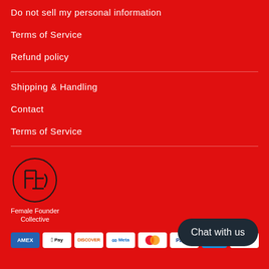Do not sell my personal information
Terms of Service
Refund policy
Shipping & Handling
Contact
Terms of Service
[Figure (logo): Female Founder Collective circular logo with stylized FFC monogram and text below reading 'Female Founder Collective']
[Figure (infographic): Row of payment method icons: American Express, Apple Pay, Discover, Meta Pay, Mastercard, PayPal, and partially visible Visa]
Chat with us